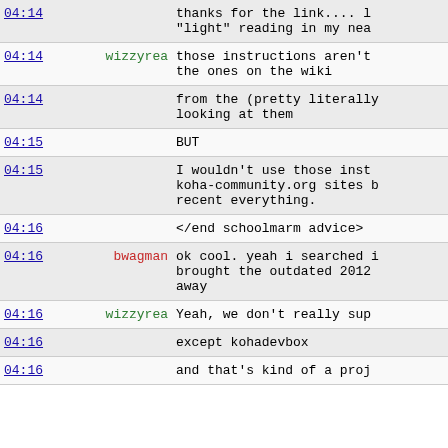| Time | User | Message |
| --- | --- | --- |
| 04:14 |  | thanks for the link.... l "light" reading in my nea |
| 04:14 | wizzyrea | those instructions aren't the ones on the wiki |
| 04:14 |  | from the (pretty literally looking at them |
| 04:15 |  | BUT |
| 04:15 |  | I wouldn't use those inst koha-community.org sites b recent everything. |
| 04:16 |  | </end schoolmarm advice> |
| 04:16 | bwagman | ok cool. yeah i searched i brought the outdated 2012 away |
| 04:16 | wizzyrea | Yeah, we don't really sup |
| 04:16 |  | except kohadevbox |
| 04:16 |  | and that's kind of a proj |
| 04:17 |  | ... |